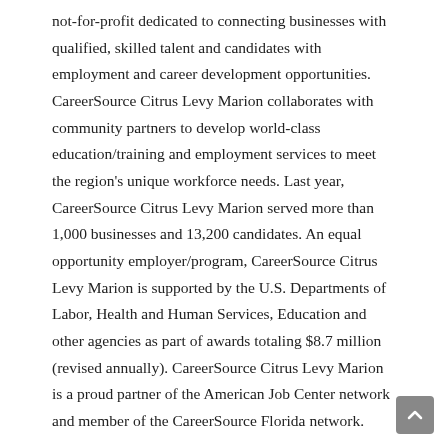not-for-profit dedicated to connecting businesses with qualified, skilled talent and candidates with employment and career development opportunities. CareerSource Citrus Levy Marion collaborates with community partners to develop world-class education/training and employment services to meet the region's unique workforce needs. Last year, CareerSource Citrus Levy Marion served more than 1,000 businesses and 13,200 candidates. An equal opportunity employer/program, CareerSource Citrus Levy Marion is supported by the U.S. Departments of Labor, Health and Human Services, Education and other agencies as part of awards totaling $8.7 million (revised annually). CareerSource Citrus Levy Marion is a proud partner of the American Job Center network and member of the CareerSource Florida network.